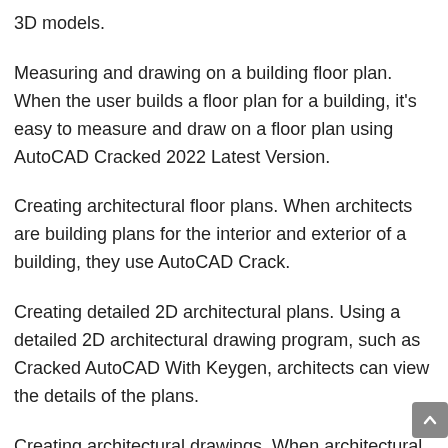3D models.
Measuring and drawing on a building floor plan. When the user builds a floor plan for a building, it's easy to measure and draw on a floor plan using AutoCAD Cracked 2022 Latest Version.
Creating architectural floor plans. When architects are building plans for the interior and exterior of a building, they use AutoCAD Crack.
Creating detailed 2D architectural plans. Using a detailed 2D architectural drawing program, such as Cracked AutoCAD With Keygen, architects can view the details of the plans.
Creating architectural drawings. When architectural drawings are done using a drafting program, AutoCAD Crack...